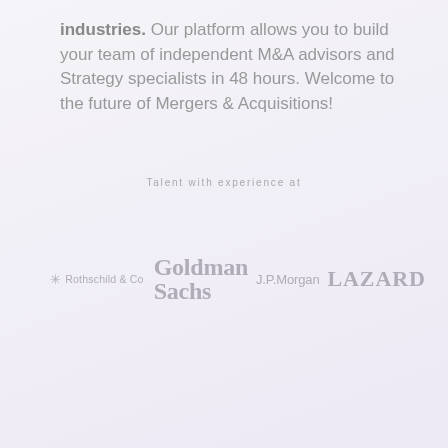industries. Our platform allows you to build your team of independent M&A advisors and Strategy specialists in 48 hours. Welcome to the future of Mergers & Acquisitions!
Talent with experience at
[Figure (logo): Row of financial firm logos: Rothschild & Co, Goldman Sachs, J.P.Morgan, LAZARD]